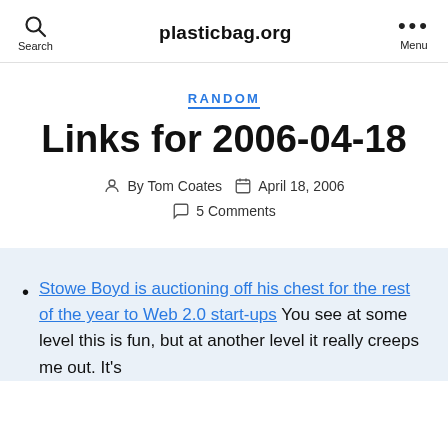plasticbag.org
RANDOM
Links for 2006-04-18
By Tom Coates   April 18, 2006   5 Comments
Stowe Boyd is auctioning off his chest for the rest of the year to Web 2.0 start-ups You see at some level this is fun, but at another level it really creeps me out. It's